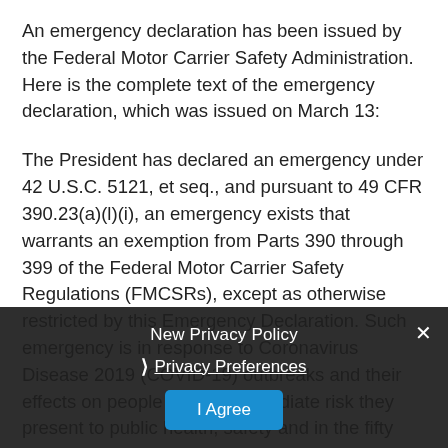An emergency declaration has been issued by the Federal Motor Carrier Safety Administration. Here is the complete text of the emergency declaration, which was issued on March 13:
The President has declared an emergency under 42 U.S.C. 5121, et seq., and pursuant to 49 CFR 390.23(a)(l)(i), an emergency exists that warrants an exemption from Parts 390 through 399 of the Federal Motor Carrier Safety Regulations (FMCSRs), except as otherwise restricted by this Emergency Declaration. Such emergency is in response to Coronavirus Disease 2019 (COVID-19) outbreaks and their effects on people and the immediate risk they present to public health, safety and in the fifty States and the District of Columbia. This
New Privacy Policy
Privacy Preferences
I Agree